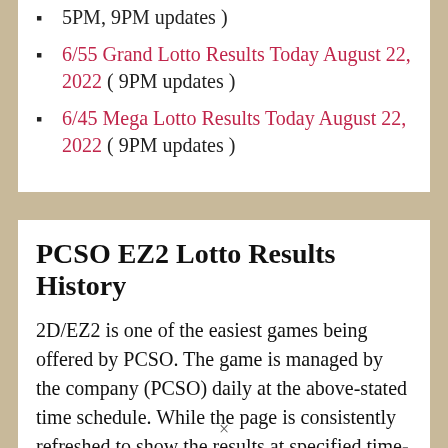5PM, 9PM updates )
6/55 Grand Lotto Results Today August 22, 2022 ( 9PM updates )
6/45 Mega Lotto Results Today August 22, 2022 ( 9PM updates )
PCSO EZ2 Lotto Results History
2D/EZ2 is one of the easiest games being offered by PCSO. The game is managed by the company (PCSO) daily at the above-stated time schedule. While the page is consistently refreshed to show the results at specified time-slots. Here we have shown you the quick EZ2 Result history in past days...